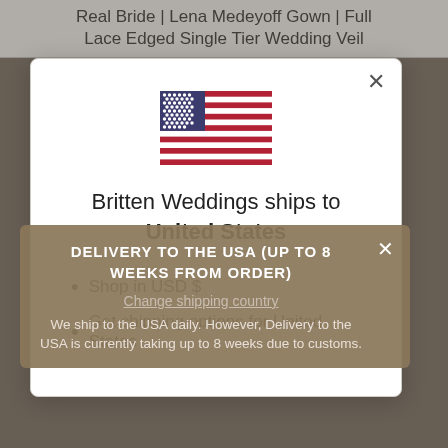Real Bride | Lena Medeyoff Gown | Full Lace Edged Single Tier Wedding Veil
[Figure (illustration): US flag SVG illustration centered in modal]
Britten Weddings ships to United States
Shop in USD $
Get shipping options for United States
DELIVERY TO THE USA (UP TO 8 WEEKS FROM ORDER)
Change shipping country
We ship to the USA daily. However, Delivery to the USA is currently taking up to 8 weeks due to customs.